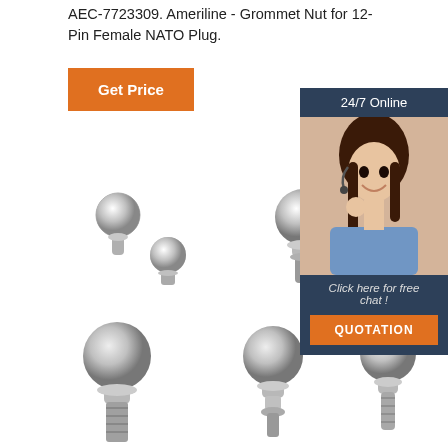AEC-7723309. Ameriline - Grommet Nut for 12-Pin Female NATO Plug.
[Figure (other): Orange 'Get Price' button]
[Figure (other): 24/7 Online chat box with photo of woman with headset, 'Click here for free chat!' text, and orange QUOTATION button]
[Figure (photo): Small chrome ball hitch hardware components, two pieces]
[Figure (photo): Chrome ball hitch stud with flange base]
[Figure (photo): Larger chrome ball hitch with threaded shank]
[Figure (photo): Chrome ball hitch with double flange]
[Figure (photo): Chrome ball hitch with threaded post]